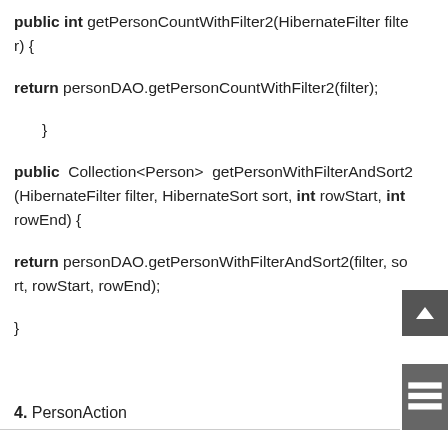public int getPersonCountWithFilter2(HibernateFilter filter) {

return personDAO.getPersonCountWithFilter2(filter);

    }

public  Collection<Person>  getPersonWithFilterAndSort2(HibernateFilter filter, HibernateSort sort, int rowStart, int rowEnd) {

return personDAO.getPersonWithFilterAndSort2(filter, sort, rowStart, rowEnd);

}
4. PersonAction